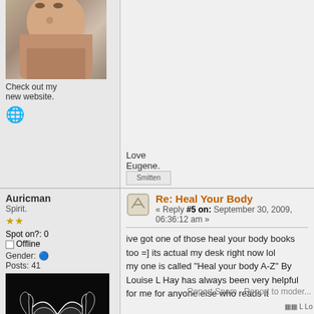I think mine is called. "You can heal your life."
Spot on?: 8
Offline
Posts: 2004
[Figure (photo): User avatar photo of a man]
Check out my new website.
Report Spam   Report to moder...
http://magicliving.net
Love
Eugene.
[Figure (other): Smitten emoticon image]
Auricman
Spirit.
Re: Heal Your Body
« Reply #5 on: September 30, 2009, 06:36:12 am »
Spot on?: 0
Offline
Gender: male
Posts: 41
ive got one of those heal your body books too =] its actual my desk right now lol
my one is called "Heal your body A-Z" By Louise L Hay has always been very helpful for me for anyone else who reads it
[Figure (illustration): Black tribal-style heart wing dragon avatar image]
Report Spam   Report to moder...